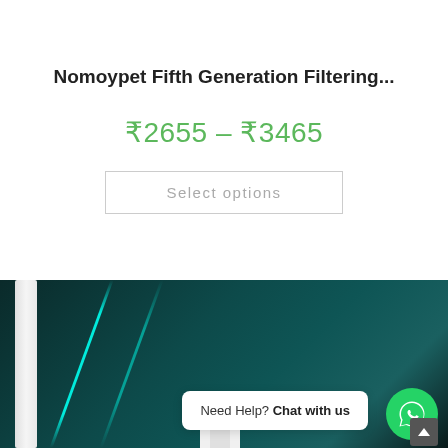Nomoypet Fifth Generation Filtering...
₹2655 – ₹3465
Select options
[Figure (photo): Product image showing aqua-lit aquarium filter device with teal/dark background, white device edge visible on left, white plug/connector at bottom center. WhatsApp chat bubble overlay saying 'Need Help? Chat with us' with WhatsApp icon and scroll-to-top button.]